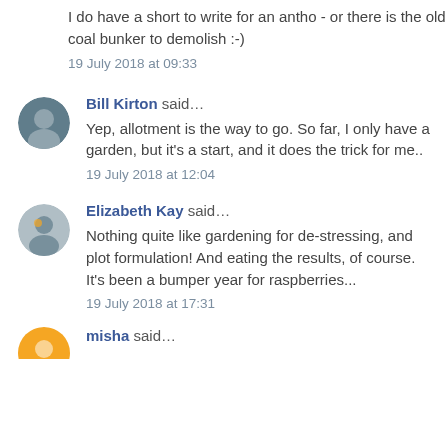I do have a short to write for an antho - or there is the old coal bunker to demolish :-)
19 July 2018 at 09:33
Bill Kirton said...
Yep, allotment is the way to go. So far, I only have a garden, but it's a start, and it does the trick for me..
19 July 2018 at 12:04
Elizabeth Kay said...
Nothing quite like gardening for de-stressing, and plot formulation! And eating the results, of course. It's been a bumper year for raspberries...
19 July 2018 at 17:31
misha said...